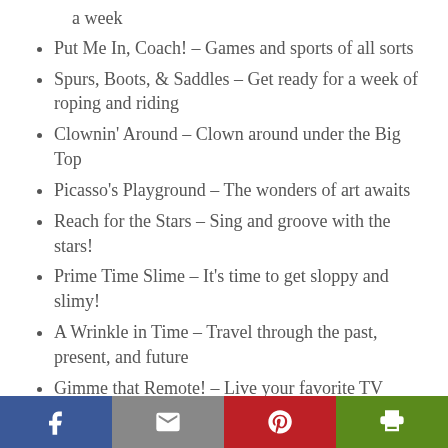a week
Put Me In, Coach! – Games and sports of all sorts
Spurs, Boots, & Saddles – Get ready for a week of roping and riding
Clownin' Around – Clown around under the Big Top
Picasso's Playground – The wonders of art awaits
Reach for the Stars – Sing and groove with the stars!
Prime Time Slime – It's time to get sloppy and slimy!
A Wrinkle in Time – Travel through the past, present, and future
Gimme that Remote! – Live your favorite TV shows
Facebook | Email | Pinterest | Print